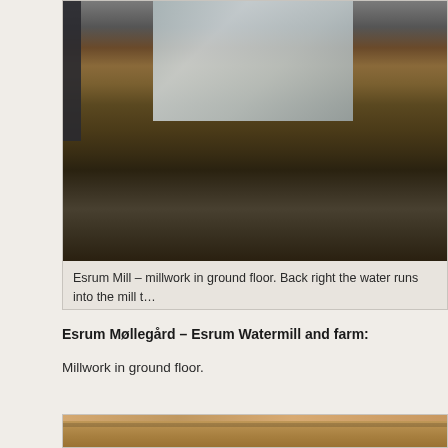[Figure (photo): Interior photograph of Esrum Mill showing millwork machinery on the ground floor. Dark wooden beams and mechanical components visible in foreground. Windows with glass panels visible in the background.]
Esrum Mill – millwork in ground floor. Back right the water runs into the mill t… west of th…
Esrum Møllegård – Esrum Watermill and farm:
Millwork in ground floor.
[Figure (photo): Partial view of wooden beam construction, showing the underside of timber framing, likely the upper floor or roof structure of the mill building.]